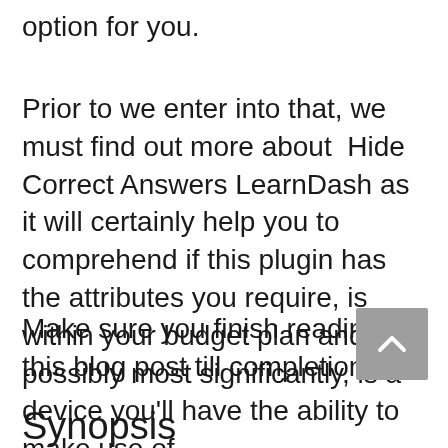option for you.
Prior to we enter into that, we must find out more about  Hide Correct Answers LearnDash as it will certainly help you to comprehend if this plugin has the attributes you require, is within your budget plan and possibly most significantly, is a device you'll have the ability to make use of.
Make sure you finish reading this blog post till completion.
Synopsis